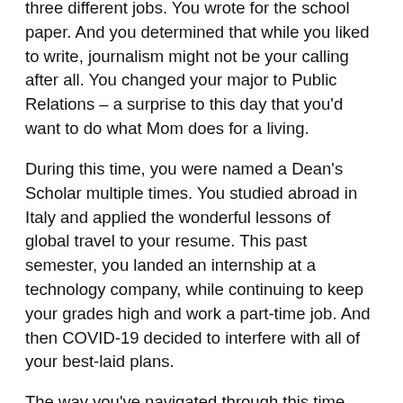three different jobs. You wrote for the school paper. And you determined that while you liked to write, journalism might not be your calling after all. You changed your major to Public Relations – a surprise to this day that you'd want to do what Mom does for a living.
During this time, you were named a Dean's Scholar multiple times. You studied abroad in Italy and applied the wonderful lessons of global travel to your resume. This past semester, you landed an internship at a technology company, while continuing to keep your grades high and work a part-time job. And then COVID-19 decided to interfere with all of your best-laid plans.
The way you've navigated through this time might make me prouder than almost anything else you've accomplished.  After living on your own as an adult